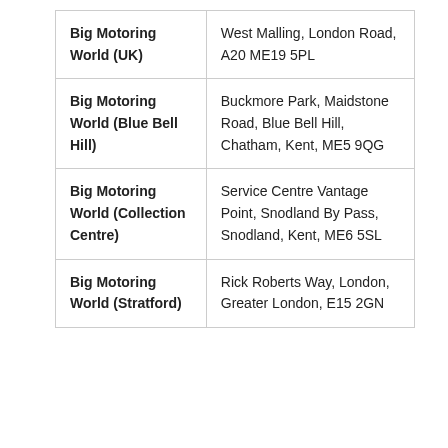| Big Motoring World (UK) | West Malling, London Road, A20 ME19 5PL |
| Big Motoring World (Blue Bell Hill) | Buckmore Park, Maidstone Road, Blue Bell Hill, Chatham, Kent, ME5 9QG |
| Big Motoring World (Collection Centre) | Service Centre Vantage Point, Snodland By Pass, Snodland, Kent, ME6 5SL |
| Big Motoring World (Stratford) | Rick Roberts Way, London, Greater London, E15 2GN |